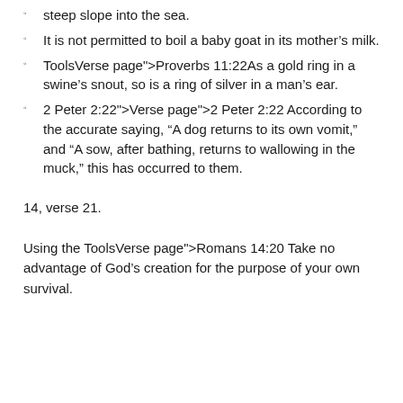steep slope into the sea.
It is not permitted to boil a baby goat in its mother’s milk.
ToolsVerse page">Proverbs 11:22As a gold ring in a swine’s snout, so is a ring of silver in a man’s ear.
2 Peter 2:22">Verse page">2 Peter 2:22 According to the accurate saying, “A dog returns to its own vomit,” and “A sow, after bathing, returns to wallowing in the muck,” this has occurred to them.
14, verse 21.
Using the ToolsVerse page">Romans 14:20 Take no advantage of God’s creation for the purpose of your own survival.